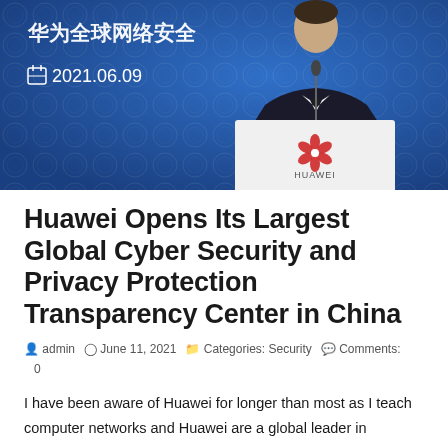[Figure (photo): A man in a dark suit speaks at a Huawei-branded podium. Behind him is a blue backdrop with Chinese text and the date 2021.06.09.]
Huawei Opens Its Largest Global Cyber Security and Privacy Protection Transparency Center in China
admin  June 11, 2021  Categories: Security  Comments: 0
I have been aware of Huawei for longer than most as I teach computer networks and Huawei are a global leader in